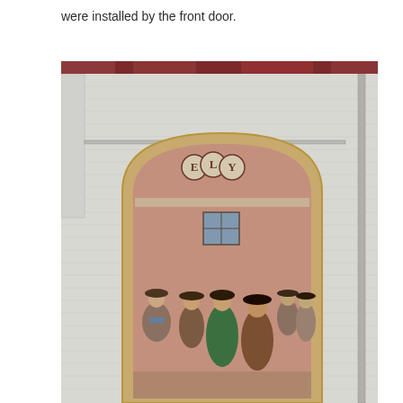were installed by the front door.
[Figure (photo): Photograph of a building exterior with a large painted mural on a white brick wall. The mural is set within a brick arched frame and depicts a Western scene with multiple figures dressed in period clothing (cowboys, a woman in a green dress) gathered in front of a building labeled 'ELY'. A light fixture hangs from above in front of the mural. A vertical pipe/conduit runs along the right side of the building.]